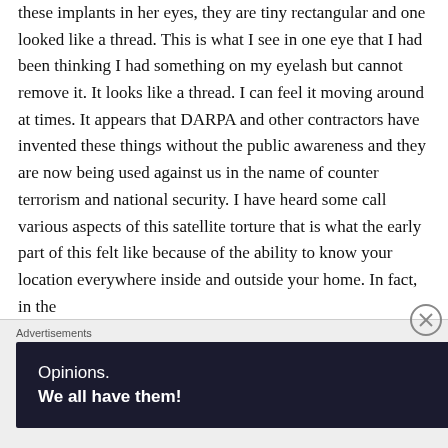these implants in her eyes, they are tiny rectangular and one looked like a thread. This is what I see in one eye that I had been thinking I had something on my eyelash but cannot remove it. It looks like a thread. I can feel it moving around at times. It appears that DARPA and other contractors have invented these things without the public awareness and they are now being used against us in the name of counter terrorism and national security. I have heard some call various aspects of this satellite torture that is what the early part of this felt like because of the ability to know your location everywhere inside and outside your home. In fact, in the
Advertisements
[Figure (other): Advertisement banner with dark navy background showing 'Opinions. We all have them!' text with WordPress (W) logo and another circular logo on the right.]